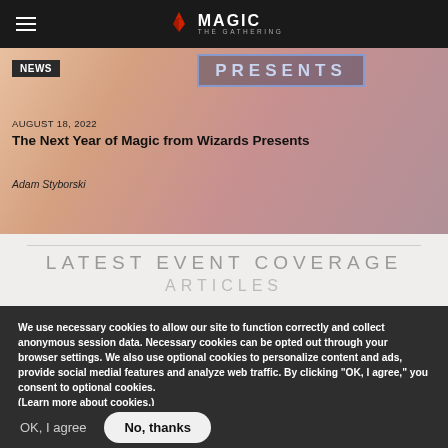Magic: The Gathering navigation bar with hamburger menu and logo
[Figure (screenshot): Article card with 'PRESENTS' banner, date AUGUST 18, 2022, title 'The Next Year of Magic from Wizards Presents', author Adam Styborski, on a pink/orange cloudy background]
LATEST EVENT COVERAGE ARTICLES
We use necessary cookies to allow our site to function correctly and collect anonymous session data. Necessary cookies can be opted out through your browser settings. We also use optional cookies to personalize content and ads, provide social medial features and analyze web traffic. By clicking “OK, I agree,” you consent to optional cookies. (Learn more about cookies.)
OK, I agree   No, thanks